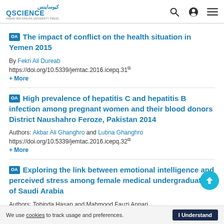QSCIENCE - QScience logo with Arabic text and Hamad Bin Khalifa University Press
The impact of conflict on the health situation in Yemen 2015
By Fekri Ali Dureab
https://doi.org/10.5339/jemtac.2016.icepq.31
+ More
High prevalence of hepatitis C and hepatitis B infection among pregnant women and their blood donors District Naushahro Feroze, Pakistan 2014
Authors: Akbar Ali Ghanghro and Lubna Ghanghro
https://doi.org/10.5339/jemtac.2016.icepq.32
+ More
Exploring the link between emotional intelligence and perceived stress among female medical undergraduates of Saudi Arabia
Authors: Tohinda Hasan and Mahmood Fauzi Annari
We use cookies to track usage and preferences. I Understand